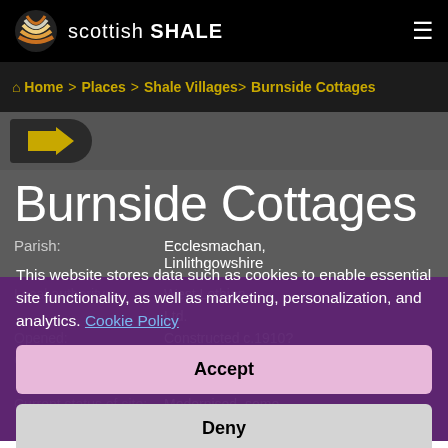scottish SHALE
Home > Places > Shale Villages > Burnside Cottages
Burnside Cottages
Parish: Ecclesmachan, Linlithgowshire
Local authority: West Lothian
This website stores data such as cookies to enable essential site functionality, as well as marketing, personalization, and analytics. Cookie Policy
Accept
Deny